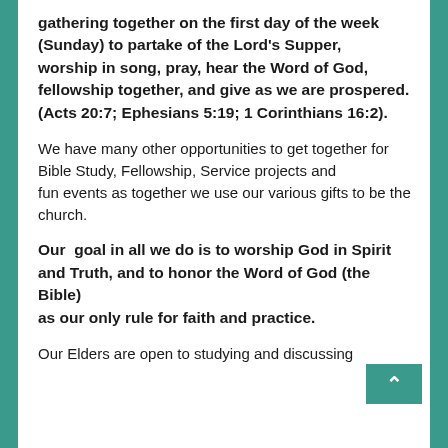gathering together on the first day of the week (Sunday) to partake of the Lord's Supper, worship in song, pray, hear the Word of God, fellowship together, and give as we are prospered. (Acts 20:7; Ephesians 5:19; 1 Corinthians 16:2).
We have many other opportunities to get together for Bible Study, Fellowship, Service projects and fun events as together we use our various gifts to be the church.
Our  goal in all we do is to worship God in Spirit and Truth, and to honor the Word of God (the Bible) as our only rule for faith and practice.
Our Elders are open to studying and discussing